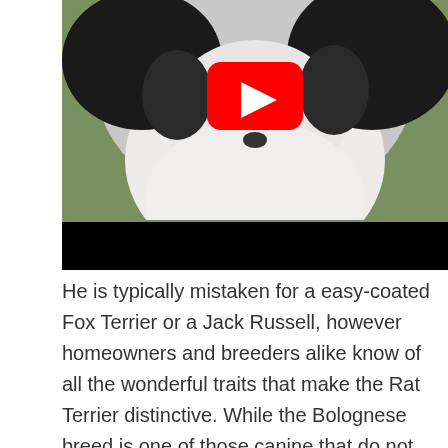[Figure (photo): A black and white fluffy small dog (Bolognese/Rat Terrier type) photographed outdoors on grass, with a YouTube play button overlay in the center of the image. A black bar appears at the bottom of the video thumbnail.]
He is typically mistaken for a easy-coated Fox Terrier or a Jack Russell, however homeowners and breeders alike know of all the wonderful traits that make the Rat Terrier distinctive. While the Bolognese breed is one of those canine that do not shed they still need maintenance for his or her coat. However after all, grooming remains to be crucial